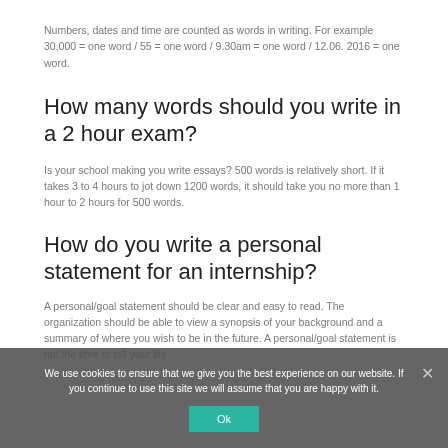Numbers, dates and time are counted as words in writing. For example 30,000 = one word / 55 = one word / 9.30am = one word / 12.06. 2016 = one word.
How many words should you write in a 2 hour exam?
Is your school making you write essays? 500 words is relatively short. If it takes 3 to 4 hours to jot down 1200 words, it should take you no more than 1 hour to 2 hours for 500 words.
How do you write a personal statement for an internship?
A personal/goal statement should be clear and easy to read. The organization should be able to view a synopsis of your background and a summary of where you wish to be in the future. A personal/goal statement is not the time to tell your life
We use cookies to ensure that we give you the best experience on our website. If you continue to use this site we will assume that you are happy with it.